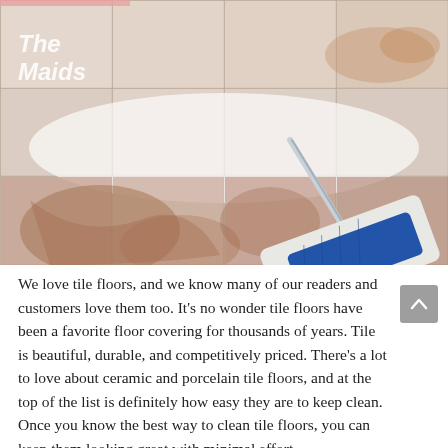[Figure (photo): Photo of marble/porcelain tile floor being cleaned with a blue flat mop. The tile has pink/beige veining. The Maids logo appears in the upper left corner of the image.]
We love tile floors, and we know many of our readers and customers love them too. It’s no wonder tile floors have been a favorite floor covering for thousands of years. Tile is beautiful, durable, and competitively priced. There’s a lot to love about ceramic and porcelain tile floors, and at the top of the list is definitely how easy they are to keep clean. Once you know the best way to clean tile floors, you can keep them looking great with minimal effort.